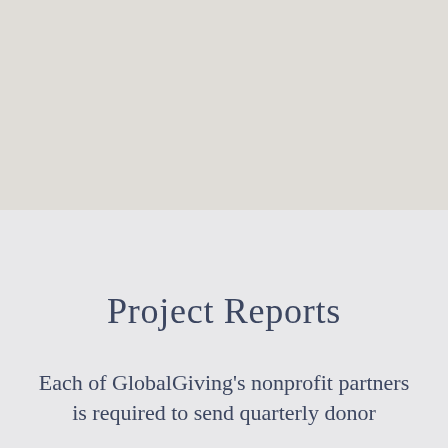[Figure (other): Gray/beige upper background section, approximately top half of page]
Project Reports
Each of GlobalGiving’s nonprofit partners is required to send quarterly donor